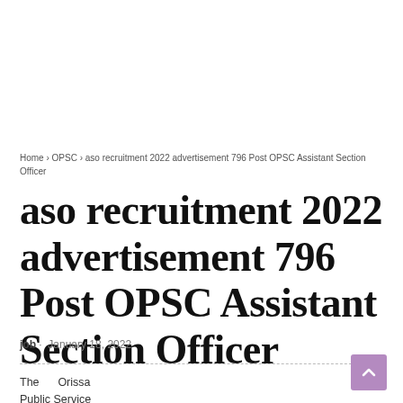Home › OPSC › aso recruitment 2022 advertisement 796 Post OPSC Assistant Section Officer
aso recruitment 2022 advertisement 796 Post OPSC Assistant Section Officer
job · January 18, 2022
The Orissa Public Service Commission